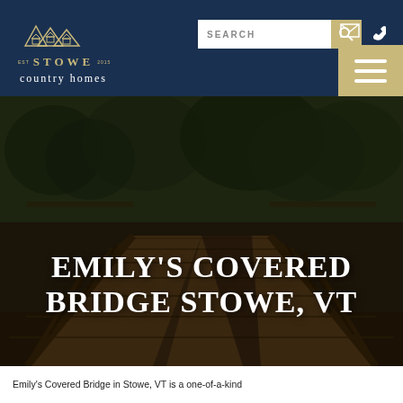[Figure (logo): Stowe Country Homes logo with mountain/house icons in gold and white text on dark navy background]
[Figure (screenshot): Website header with search bar, mail icon, phone icon, and hamburger menu button on navy background]
[Figure (photo): Photograph of a wooden covered bridge (Emily's Covered Bridge) in Stowe, VT, with large white serif text overlay reading EMILY'S COVERED BRIDGE STOWE, VT]
Emily's Covered Bridge in Stowe, VT is a one-of-a-kind